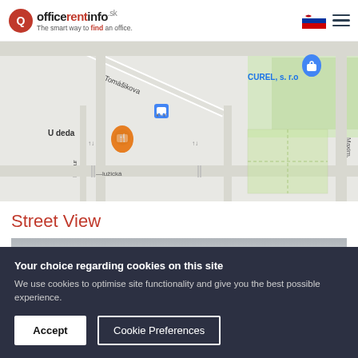officerentinfo.sk – The smart way to find an office.
[Figure (map): Google Maps street map showing area with labels: Tomášikova, CUREL s.r.o, U deda, Shell, Habur (street), with map pins for food/restaurant (orange) and Shell gas station (blue/purple).]
Street View
[Figure (photo): Street View image partially visible, showing a building exterior]
Your choice regarding cookies on this site
We use cookies to optimise site functionality and give you the best possible experience.
Accept
Cookie Preferences